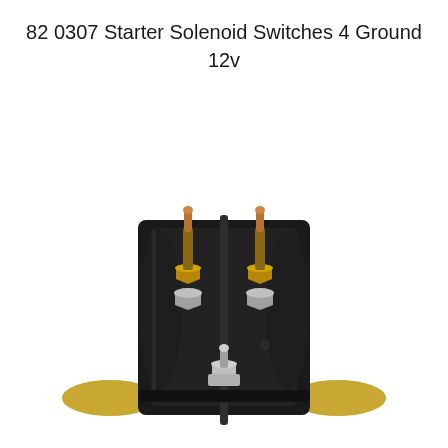82 0307 Starter Solenoid Switches 4 Ground 12v
[Figure (photo): Photograph of a starter solenoid switch (part 82 0307) 4-ground 12V. The solenoid has a black rectangular body with two copper-tipped brass terminal posts on top (with hex nuts and washers), a smaller silver/chrome ground terminal post at the bottom center, and a gold/brass mounting bracket base with two oval mounting holes on either side.]